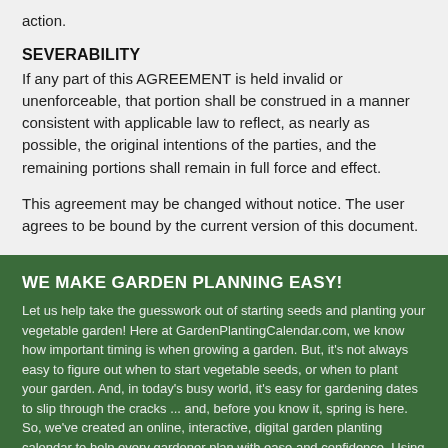action.
SEVERABILITY
If any part of this AGREEMENT is held invalid or unenforceable, that portion shall be construed in a manner consistent with applicable law to reflect, as nearly as possible, the original intentions of the parties, and the remaining portions shall remain in full force and effect.
This agreement may be changed without notice. The user agrees to be bound by the current version of this document.
WE MAKE GARDEN PLANNING EASY!
Let us help take the guesswork out of starting seeds and planting your vegetable garden! Here at GardenPlantingCalendar.com, we know how important timing is when growing a garden. But, it's not always easy to figure out when to start vegetable seeds, or when to plant your garden. And, in today's busy world, it's easy for gardening dates to slip through the cracks ... and, before you know it, spring is here. So, we've created an online, interactive, digital garden planting calendar to help every gardener plan with ease and confidence. Using average frost dates for your